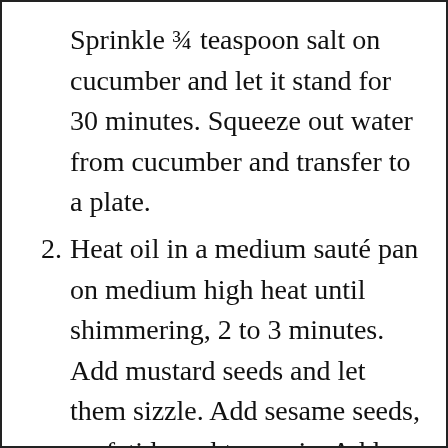Sprinkle ¾ teaspoon salt on cucumber and let it stand for 30 minutes. Squeeze out water from cucumber and transfer to a plate.
2. Heat oil in a medium sauté pan on medium high heat until shimmering, 2 to 3 minutes. Add mustard seeds and let them sizzle. Add sesame seeds, asafetida and turmeric. Add chili, curry leaves and sauté for 30 to 40 seconds. Add dalia or peanuts and sauté for a minute.
3. Add cucumber and sauté it for one minute. Season with salt, sugar and